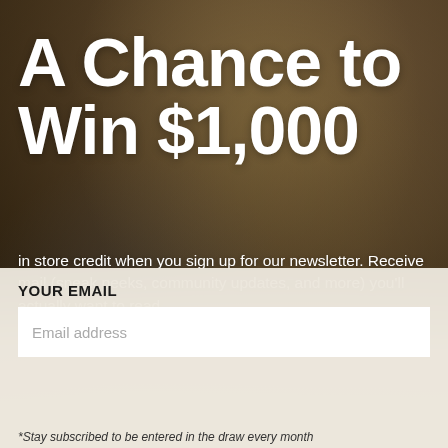[Figure (photo): Background photo of a person sitting in a chair holding a tablet device, warm earthy tones with golden/brown hues]
A Chance to Win $1,000
in store credit when you sign up for our newsletter. Receive mail (sneak peeks, community updates, and more) you'll actually want to read.
YOUR EMAIL
Email address
*Stay subscribed to be entered in the draw every month